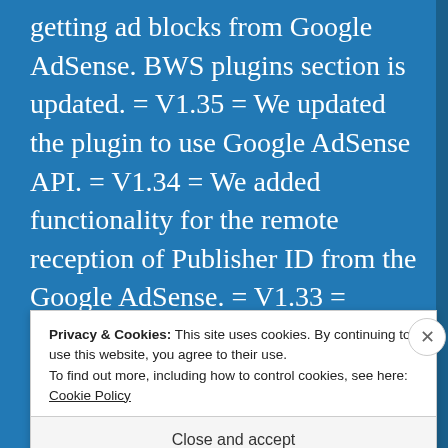getting ad blocks from Google AdSense. BWS plugins section is updated. = V1.35 = We updated the plugin to use Google AdSense API. = V1.34 = We added functionality for the remote reception of Publisher ID from the Google AdSense. = V1.33 = Plugin optimization is done. We updated all functionality for wordpress 4.2.1. = V1.32 = BWS plugins
Privacy & Cookies: This site uses cookies. By continuing to use this website, you agree to their use.
To find out more, including how to control cookies, see here: Cookie Policy
Close and accept